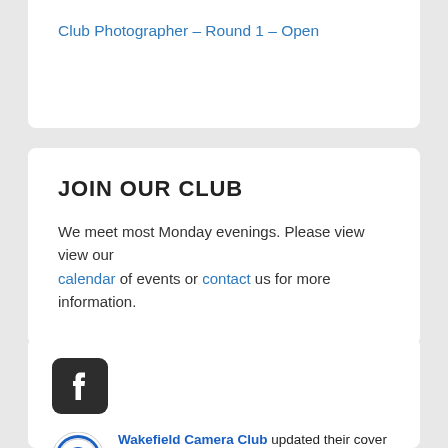Club Photographer – Round 1 – Open
JOIN OUR CLUB
We meet most Monday evenings. Please view view our calendar of events or contact us for more information.
[Figure (logo): Facebook logo icon — dark rounded square with white 'f' letter]
Wakefield Camera Club updated their cover photo. 2 weeks ago